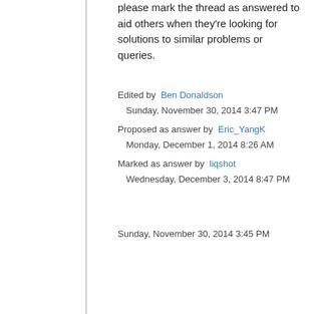please mark the thread as answered to aid others when they're looking for solutions to similar problems or queries.
Edited by  Ben Donaldson
Sunday, November 30, 2014 3:47 PM
Proposed as answer by  Eric_YangK
Monday, December 1, 2014 8:26 AM
Marked as answer by  liqshot
Wednesday, December 3, 2014 8:47 PM
Sunday, November 30, 2014 3:45 PM